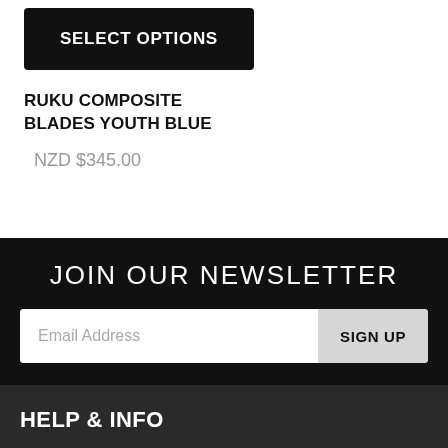[Figure (screenshot): Black 'SELECT OPTIONS' button on white background]
RUKU COMPOSITE BLADES YOUTH BLUE
NZD $345.00
JOIN OUR NEWSLETTER
Email Address
SIGN UP
HELP & INFO